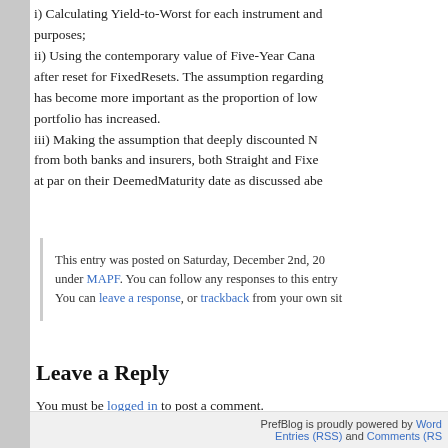i) Calculating Yield-to-Worst for each instrument and purposes;
ii) Using the contemporary value of Five-Year Cana after reset for FixedResets. The assumption regarding has become more important as the proportion of low portfolio has increased.
iii) Making the assumption that deeply discounted N from both banks and insurers, both Straight and Fixe at par on their DeemedMaturity date as discussed abe
This entry was posted on Saturday, December 2nd, 20 under MAPF. You can follow any responses to this entry You can leave a response, or trackback from your own sit
Leave a Reply
You must be logged in to post a comment.
PrefBlog is proudly powered by Word Entries (RSS) and Comments (RS